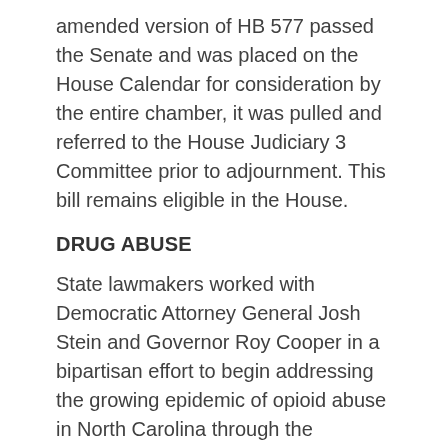amended version of HB 577 passed the Senate and was placed on the House Calendar for consideration by the entire chamber, it was pulled and referred to the House Judiciary 3 Committee prior to adjournment. This bill remains eligible in the House.
DRUG ABUSE
State lawmakers worked with Democratic Attorney General Josh Stein and Governor Roy Cooper in a bipartisan effort to begin addressing the growing epidemic of opioid abuse in North Carolina through the passage of HB 243—Strengthen Opioid Misuse. HB 243 limits access to opioids; increases doctor and pharmacy participation in regulating, tracking and limiting access to these addictive drugs; and provides funding for community-based treatment and